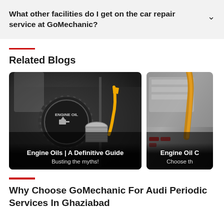What other facilities do I get on the car repair service at GoMechanic?
Related Blogs
[Figure (photo): Close-up photo of a car engine showing a black ENGINE OIL cap and an open oil fill port with a yellow dipstick handle in the background. Dark mechanical components surround it.]
Engine Oils | A Definitive Guide
Busting the myths!
[Figure (photo): Photo of golden engine oil being poured, with mechanical components visible in the background.]
Engine Oil C…
Choose th…
Why Choose GoMechanic For Audi Periodic Services In Ghaziabad